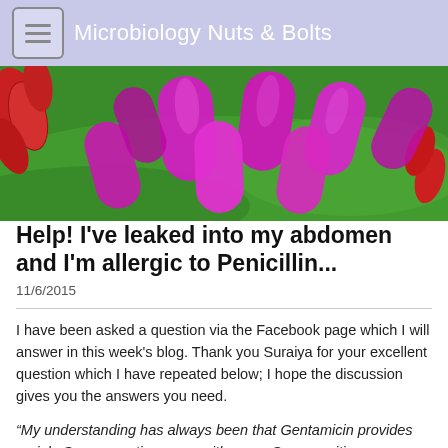Microbiology Nuts & Bolts
[Figure (photo): Colorized scanning electron microscope image showing bright magenta/pink rod-shaped bacteria (Gram-negative bacilli) on a green background with some red rod-shaped bacteria on the left side]
Help! I've leaked into my abdomen and I'm allergic to Penicillin...
11/6/2015
I have been asked a question via the Facebook page which I will answer in this week's blog. Thank you Suraiya for your excellent question which I have repeated below; I hope the discussion gives you the answers you need.
“My understanding has always been that Gentamicin provides mainly Gram-negative cover with some Gram-positive cover (Staphylococcus spp., Streptococcus spp. and maybe Enterococcus spp.) and better Gram-positive